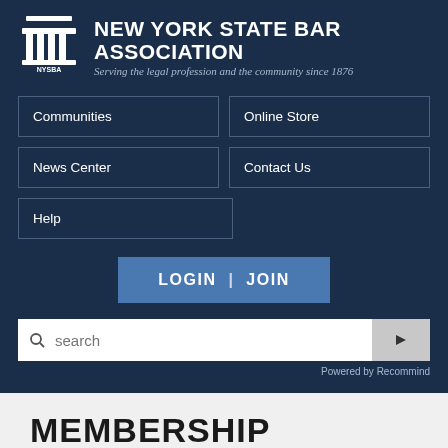NEW YORK STATE BAR ASSOCIATION — Serving the legal profession and the community since 1876
Communities
Online Store
News Center
Contact Us
Help
LOGIN | JOIN
search
Powered by Recommind
MEMBERSHIP
MENU